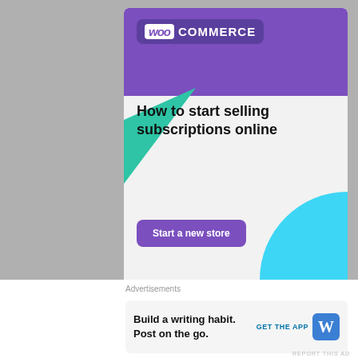[Figure (illustration): WooCommerce advertisement banner with purple header containing WooCommerce logo, green triangle decoration on left, blue circle decoration on right, headline text 'How to start selling subscriptions online', and a purple 'Start a new store' button.]
DAILY UPDATES
[Figure (screenshot): Bottom advertisement bar showing 'Advertisements' label, inner ad with text 'Build a writing habit. Post on the go.' with 'GET THE APP' link and WordPress icon, plus a report/close button.]